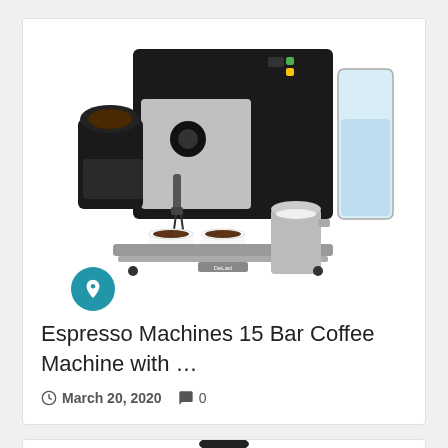[Figure (photo): Photo of an espresso machine (15 bar coffee machine) with grinder, two white cups, and a milk frothing pitcher. A blue circular pin/bookmark badge is overlaid at the bottom-left of the image.]
Espresso Machines 15 Bar Coffee Machine with …
March 20, 2020   0
[Figure (photo): Partial photo of a black portable espresso maker (Wacaco Minipresso) showing the top portion of the device.]